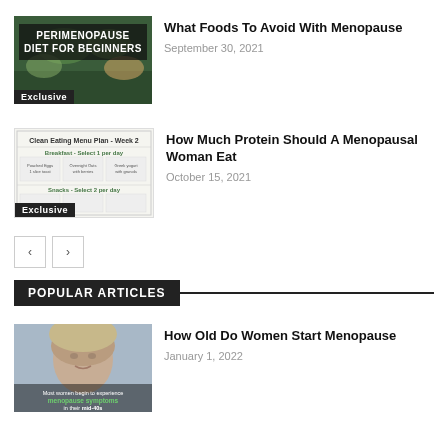[Figure (photo): Perimenopause Diet for Beginners book cover with food images, Exclusive badge]
What Foods To Avoid With Menopause
September 30, 2021
[Figure (photo): Clean Eating Menu Plan Week 2 chart image, Exclusive badge]
How Much Protein Should A Menopausal Woman Eat
October 15, 2021
< >
POPULAR ARTICLES
[Figure (photo): Woman's face with text: Most women begin to experience menopause symptoms in their mid-40s]
How Old Do Women Start Menopause
January 1, 2022